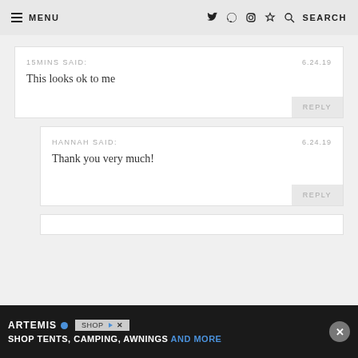MENU | f twitter instagram pinterest SEARCH
15MINS SAID: 6.24.19
This looks ok to me
REPLY
HANNAH SAID: 6.24.19
Thank you very much!
REPLY
[Figure (screenshot): Partial third comment card, partially covered by ad banner]
[Figure (screenshot): Ad banner: ARTEMIS brand, shop button, SHOP TENTS, CAMPING, AWNINGS AND MORE, close button]